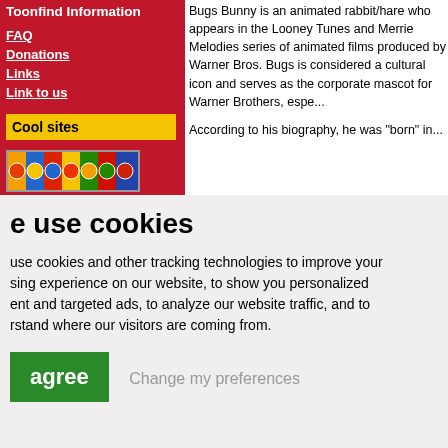Toonfind Information
FAQ
Donations
Links
Link to us
Cool sites
[Figure (illustration): Colorful cartoon-style banner image]
Bugs Bunny is an animated rabbit/hare who appears in the Looney Tunes and Merrie Melodies series of animated films produced by Warner Bros. Bugs is considered a cultural icon and serves as the corporate mascot for Warner Brothers, espe...
According to his biography, he was "born" in...
e use cookies
use cookies and other tracking technologies to improve your sing experience on our website, to show you personalized ent and targeted ads, to analyze our website traffic, and to rstand where our visitors are coming from.
agree
Change my preferences